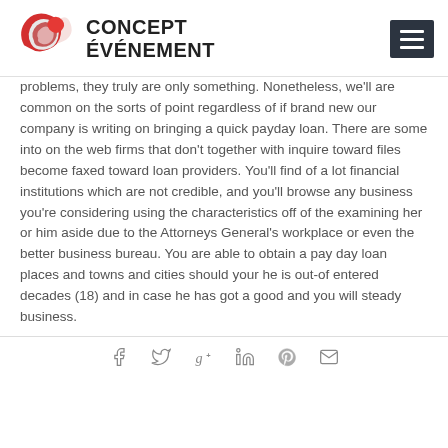[Figure (logo): Concept Événement logo with red swirl graphic and bold uppercase text]
problems, they truly are only something. Nonetheless, we'll are common on the sorts of point regardless of if brand new our company is writing on bringing a quick payday loan. There are some into on the web firms that don't together with inquire toward files become faxed toward loan providers. You'll find of a lot financial institutions which are not credible, and you'll browse any business you're considering using the characteristics off of the examining her or him aside due to the Attorneys General's workplace or even the better business bureau. You are able to obtain a pay day loan places and towns and cities should your he is out-of entered decades (18) and in case he has got a good and you will steady business.
[Figure (infographic): Social share icons: facebook, twitter, google-plus, linkedin, pinterest, email]